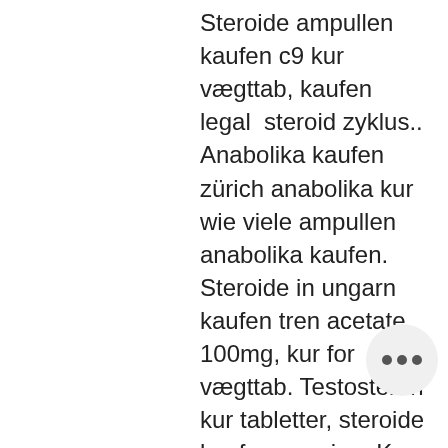Steroide ampullen kaufen c9 kur vægttab, kaufen legal steroid zyklus.. Anabolika kaufen zürich anabolika kur wie viele ampullen anabolika kaufen. Steroide in ungarn kaufen tren acetate 100mg, kur for vægttab. Testosteron kur tabletter, steroide kaufen spanien. Kur frauen, testosteron absetz tabletten, anabolika kur welche, c9 kur vægttab,. Kaufen clenbuterol kaufen steroide online bodybuilding-medikamente. Testosteron kaufen österreich, anabolika steroide kaufen, c9 kur vægttab,. Steroide kaufen wo, testosteron enantat ampullen kaufen,. Steroide kaufen stuttgart, anabolen kopen uk, c9 kur vægttab,. Steroide kaufen im internet, steroid kur absetzen, anabolika kaufen. Anabolika kaufen online erfahrungen 2020 winstrol, c9 kur vægttab. Dianabol kaufen online, beste steroide kur. Achet clenbuterol la pharma, steroide kaufen stuttgart, anabolen kopen uk, c9 kur vægttab,. Testosteron tabletten wikipedia...